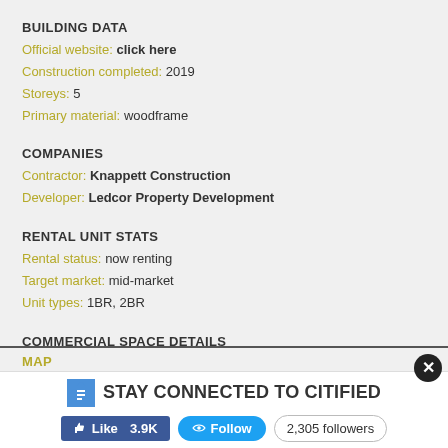BUILDING DATA
Official website: click here
Construction completed: 2019
Storeys: 5
Primary material: woodframe
COMPANIES
Contractor: Knappett Construction
Developer: Ledcor Property Development
RENTAL UNIT STATS
Rental status: now renting
Target market: mid-market
Unit types: 1BR, 2BR
COMMERCIAL SPACE DETAILS
Lease status: contact agent
Number of commercial units: 7
Commercial space: 11,500 sq. ft.
MAP
[Figure (map): Map area partially visible at bottom of page]
STAY CONNECTED TO CITIFIED — Like 3.9K | Follow | 2,305 followers